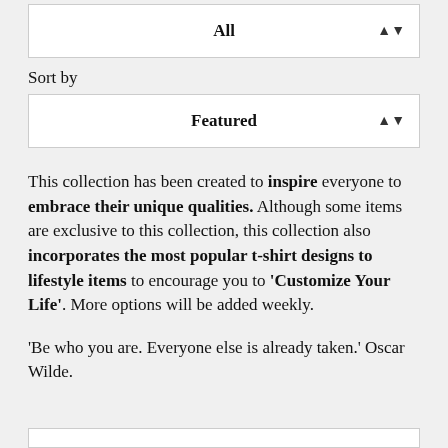All
Sort by
Featured
This collection has been created to inspire everyone to embrace their unique qualities. Although some items are exclusive to this collection, this collection also incorporates the most popular t-shirt designs to lifestyle items to encourage you to 'Customize Your Life'. More options will be added weekly.
'Be who you are. Everyone else is already taken.' Oscar Wilde.